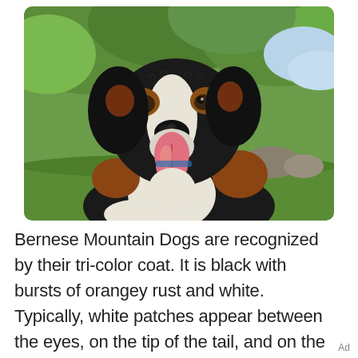[Figure (photo): A Bernese Mountain Dog sitting outdoors on green grass with trees in the background. The dog has a tri-color coat (black, white, and rust), is facing the camera with mouth open and tongue out, appearing happy.]
Bernese Mountain Dogs are recognized by their tri-color coat. It is black with bursts of orangey rust and white. Typically, white patches appear between the eyes, on the tip of the tail, and on the chest in the shape of an inverted cross. As for size, Bernese
Ad